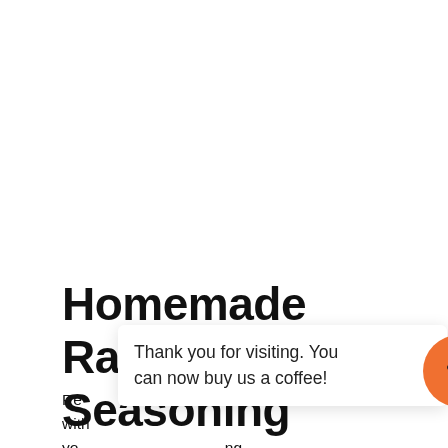Homemade Ranch Seasoning
Replace store-bought packets with homemade ranch seasoning with your own mix, using no fillers, no MSG, and no ingredients you can't pronounce. Healthier and, in our opinion, tastier!
[Figure (other): Popup tooltip overlay reading 'Thank you for visiting. You can now buy us a coffee!' with an orange circular coffee cup button icon and a teal scroll-to-top arrow button]